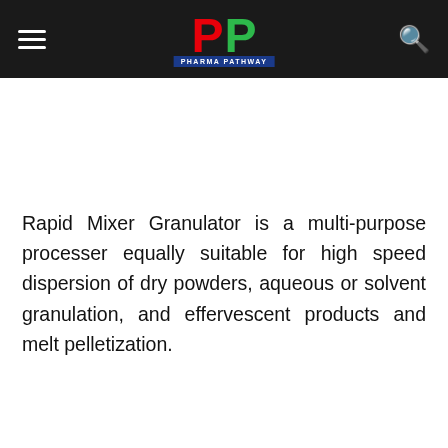PHARMA PATHWAY
Rapid Mixer Granulator is a multi-purpose processer equally suitable for high speed dispersion of dry powders, aqueous or solvent granulation, and effervescent products and melt pelletization.